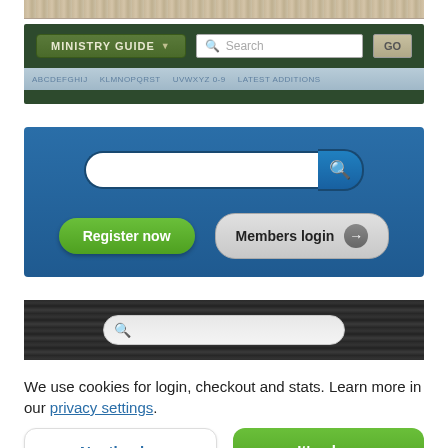[Figure (screenshot): Beige/tan textured background strip at top]
[Figure (screenshot): Dark green navigation bar with Ministry Guide dropdown and Search field with GO button, plus a light blue navigation strip below]
[Figure (screenshot): Blue UI panel with a search bar, Register now (green) button, and Members login button]
[Figure (screenshot): Dark wood-textured background with a centered search bar]
We use cookies for login, checkout and stats. Learn more in our privacy settings.
No, thanks.
It's okay.